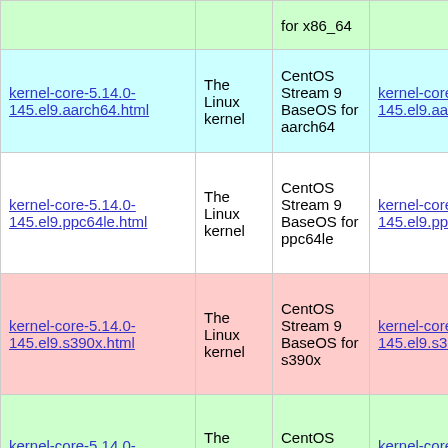| Package | Summary | Repository | Download |
| --- | --- | --- | --- |
|  |  | for x86_64 |  |
| kernel-core-5.14.0-145.el9.aarch64.html | The Linux kernel | CentOS Stream 9 BaseOS for aarch64 | kernel-core-5.14.0-145.el9.aarch64.rpm |
| kernel-core-5.14.0-145.el9.ppc64le.html | The Linux kernel | CentOS Stream 9 BaseOS for ppc64le | kernel-core-5.14.0-145.el9.ppc64le.rpm |
| kernel-core-5.14.0-145.el9.s390x.html | The Linux kernel | CentOS Stream 9 BaseOS for s390x | kernel-core-5.14.0-145.el9.s390x.rpm |
| kernel-core-5.14.0-145.el9.x86_64.html | The Linux kernel | CentOS Stream 9 BaseOS for | kernel-core-5.14.0-145.el9.x86_64.rpm |